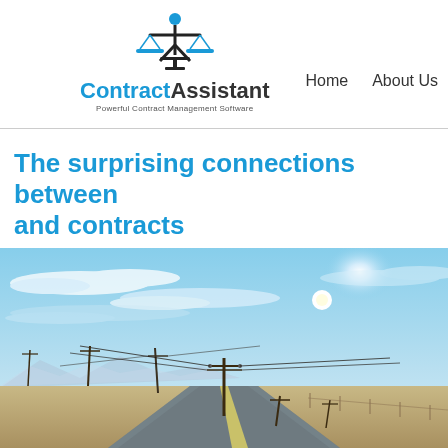ContractAssistant — Powerful Contract Management Software | Home | About Us
The surprising connections between and contracts
[Figure (photo): A straight open road stretching to the horizon under a bright blue sky with wispy clouds, flanked by power line poles. Mountains visible in the distant background.]